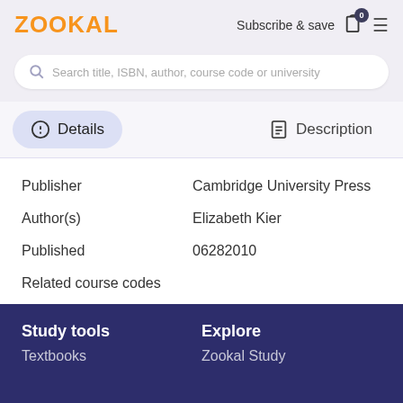ZOOKAL
Subscribe & save
Search title, ISBN, author, course code or university
Details
Description
| Field | Value |
| --- | --- |
| Publisher | Cambridge University Press |
| Author(s) | Elizabeth Kier |
| Published | 06282010 |
| Related course codes |  |
Study tools
Explore
Textbooks
Zookal Study